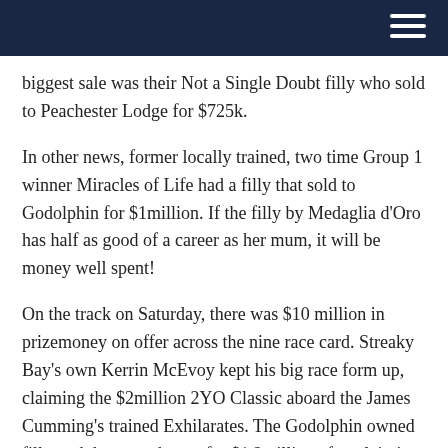[navigation bar with hamburger menu]
biggest sale was their Not a Single Doubt filly who sold to Peachester Lodge for $725k.
In other news, former locally trained, two time Group 1 winner Miracles of Life had a filly that sold to Godolphin for $1million. If the filly by Medaglia d'Oro has half as good of a career as her mum, it will be money well spent!
On the track on Saturday, there was $10 million in prizemoney on offer across the nine race card. Streaky Bay's own Kerrin McEvoy kept his big race form up, claiming the $2million 2YO Classic aboard the James Cumming's trained Exhilarates. The Godolphin owned filly took home a cheque for $1.2million after claiming the feature and McEvoy was ever so close in claiming the day's first $2million race, the 3YO Guineas, when his mount Bondi just got pipped at the post by the Chris Munce trained Boomsara. The Adelaide 2YO Magic